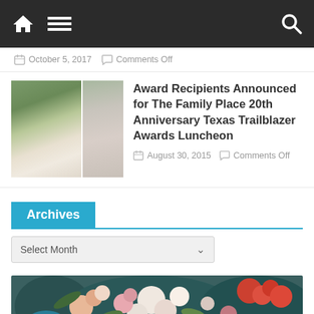Navigation bar with home, menu, and search icons
October 5, 2017  Comments Off
Award Recipients Announced for The Family Place 20th Anniversary Texas Trailblazer Awards Luncheon
August 30, 2015  Comments Off
Archives
Select Month
[Figure (photo): Floral arrangement photo at bottom of page]